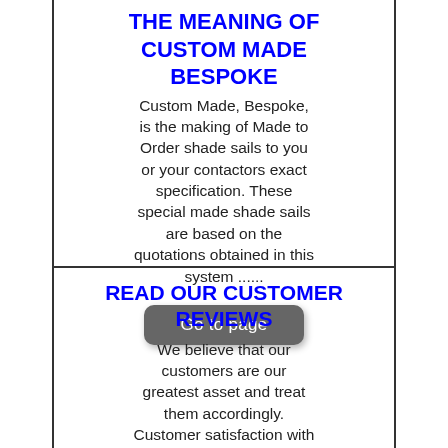THE MEANING OF CUSTOM MADE BESPOKE
Custom Made, Bespoke, is the making of Made to Order shade sails to you or your contactors exact specification. These special made shade sails are based on the quotations obtained in this system ......
[Figure (other): Go to page button]
READ OUR CUSTOMER REVIEWS
We believe that our customers are our greatest asset and treat them accordingly. Customer satisfaction with